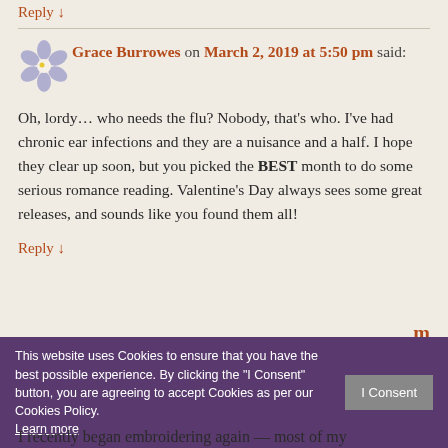Reply ↓
Grace Burrowes on March 2, 2019 at 5:50 pm said:
Oh, lordy… who needs the flu? Nobody, that's who. I've had chronic ear infections and they are a nuisance and a half. I hope they clear up soon, but you picked the BEST month to do some serious romance reading. Valentine's Day always sees some great releases, and sounds like you found them all!
Reply ↓
This website uses Cookies to ensure that you have the best possible experience. By clicking the "I Consent" button, you are agreeing to accept Cookies as per our Cookies Policy. Learn more
I recently began embroidering again — most of my